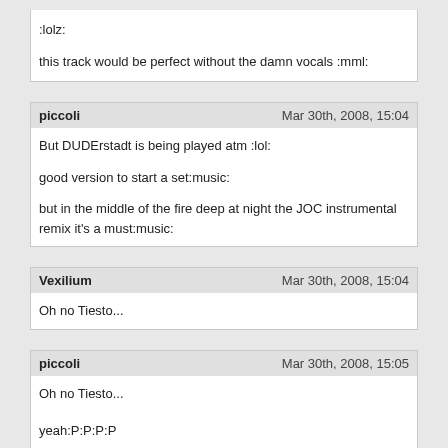:lolz:

this track would be perfect without the damn vocals :mml:
piccoli | Mar 30th, 2008, 15:04
But DUDErstadt is being played atm :lol:

good version to start a set:music:

but in the middle of the fire deep at night the JOC instrumental remix it's a must:music:
Vexilium | Mar 30th, 2008, 15:04
Oh no Tiesto...
piccoli | Mar 30th, 2008, 15:05
Oh no Tiesto...

yeah:P:P:P:P
M... | Mar 30th, 2008, 15:05